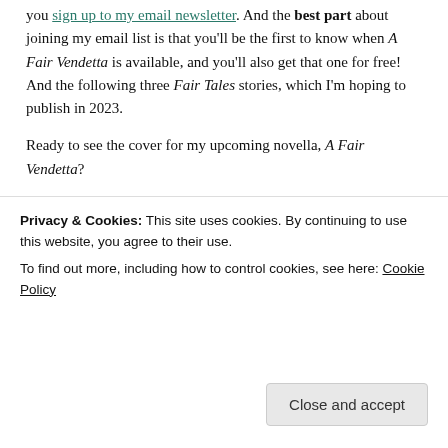you sign up to my email newsletter. And the best part about joining my email list is that you'll be the first to know when A Fair Vendetta is available, and you'll also get that one for free! And the following three Fair Tales stories, which I'm hoping to publish in 2023.
Ready to see the cover for my upcoming novella, A Fair Vendetta?
[Figure (photo): Book cover for A Fair Vendetta by Lyndsey Hall — dark blue/purple background with ornate gold decorative border, author name 'LYNDSEY HALL' in gold serif lettering, gothic fantasy style]
Privacy & Cookies: This site uses cookies. By continuing to use this website, you agree to their use. To find out more, including how to control cookies, see here: Cookie Policy